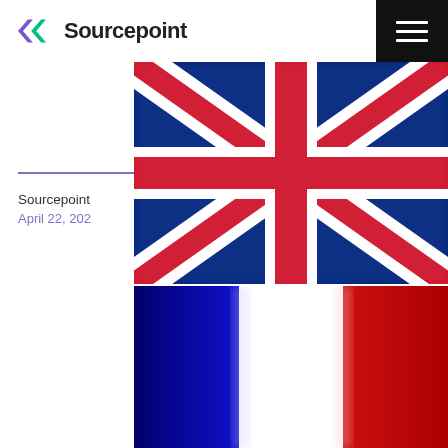Sourcepoint
Sourcepoint
April 22, 202...
[Figure (photo): Blurred UK Union Jack flag image]
[Figure (photo): French tricolor flag image (partially visible)]